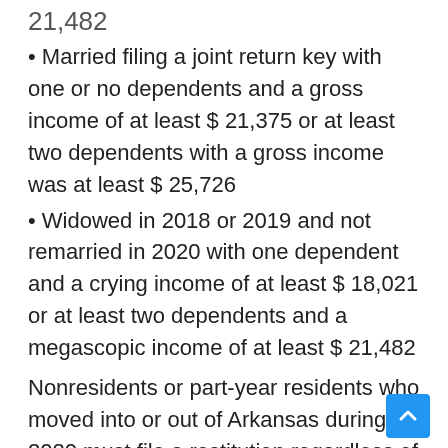21,482
• Married filing a joint return key with one or no dependents and a gross income of at least $ 21,375 or at least two dependents with a gross income was at least $ 25,726
• Widowed in 2018 or 2019 and not remarried in 2020 with one dependent and a crying income of at least $ 18,021 or at least two dependents and a megascopic income of at least $ 21,482
Nonresidents or part-year residents who moved into or out of Arkansas during 2020 must file a restitution regardless of income .
What do the different filing statuses mean?